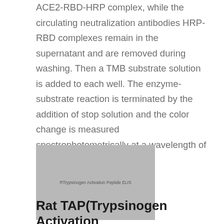ACE2-RBD-HRP complex, while the circulating neutralization antibodies HRP-RBD complexes remain in the supernatant and are removed during washing. Then a TMB substrate solution is added to each well. The enzyme-substrate reaction is terminated by the addition of stop solution and the color change is measured spectrophotometrically at a wavelength of 450 nm ± 2 nm.
[Figure (other): Grayscale image placeholder with text 'RTrypsinogen Activation Peptide ELIS']
Rat TAP(Trypsinogen Activation